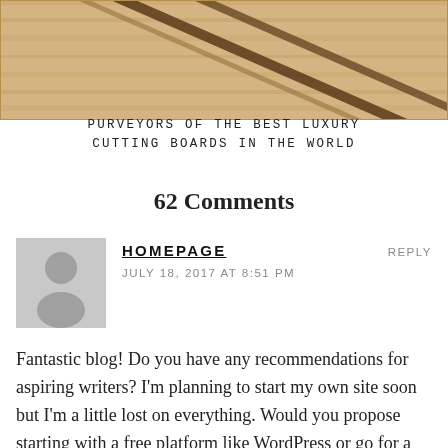[Figure (photo): Top portion of a wooden cutting board with diagonal brown stripe lines on a light wood background]
PURVEYORS OF THE BEST LUXURY CUTTING BOARDS IN THE WORLD
62 Comments
HOMEPAGE
JULY 18, 2017 AT 8:51 PM
REPLY
Fantastic blog! Do you have any recommendations for aspiring writers? I'm planning to start my own site soon but I'm a little lost on everything. Would you propose starting with a free platform like WordPress or go for a paid option? There are so many choices out